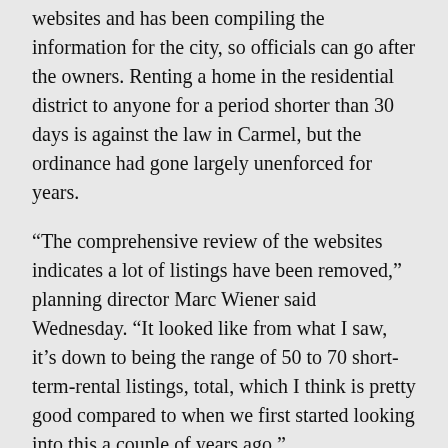websites and has been compiling the information for the city, so officials can go after the owners. Renting a home in the residential district to anyone for a period shorter than 30 days is against the law in Carmel, but the ordinance had gone largely unenforced for years.
“The comprehensive review of the websites indicates a lot of listings have been removed,” planning director Marc Wiener said Wednesday. “It looked like from what I saw, it’s down to being the range of 50 to 70 short-term-rental listings, total, which I think is pretty good compared to when we first started looking into this a couple of years ago.”